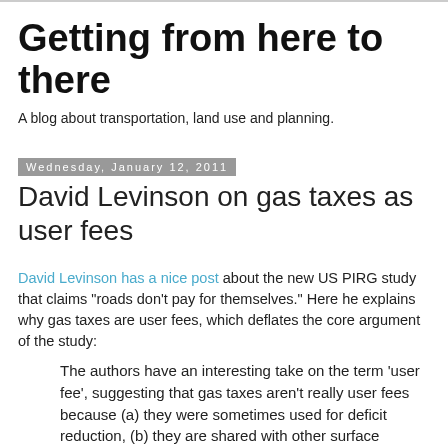Getting from here to there
A blog about transportation, land use and planning.
Wednesday, January 12, 2011
David Levinson on gas taxes as user fees
David Levinson has a nice post about the new US PIRG study that claims "roads don't pay for themselves." Here he explains why gas taxes are user fees, which deflates the core argument of the study:
The authors have an interesting take on the term 'user fee', suggesting that gas taxes aren't really user fees because (a) they were sometimes used for deficit reduction, (b) they are shared with other surface transportation (transit), and (c) they don't correspond with use. While I don't like either